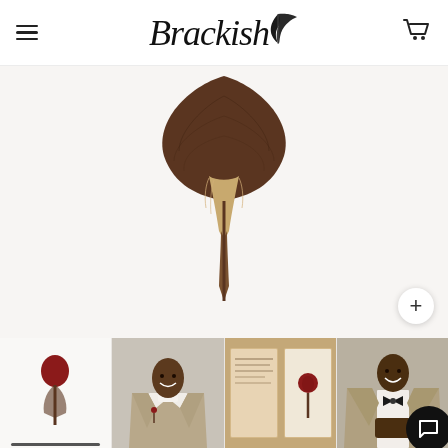Brackish (logo with feather icon), hamburger menu, cart icon
[Figure (photo): Close-up product photo of a feather lapel pin or boutonniere shown upside down against a light gray/white background, showing the tip of the feather quill at the top and the stalk pointing down. The feather is dark brown with golden/cream accent fibers near the quill end. A circular zoom (+) button appears in the lower right.]
[Figure (photo): Thumbnail 1: Small product image of the feather pin standing upright with a red/maroon feather top on white background, currently selected (underline indicator).]
[Figure (photo): Thumbnail 2: Man in tan/khaki suit jacket with white shirt, smiling, wearing the feather lapel pin on his lapel.]
[Figure (photo): Thumbnail 3: Flat lay of the feather pin displayed in an open wooden gift box with printed paper/certificate backdrop.]
[Figure (photo): Thumbnail 4: Man in tan/khaki suit with bow tie, smiling and holding something, wearing the feather pin.]